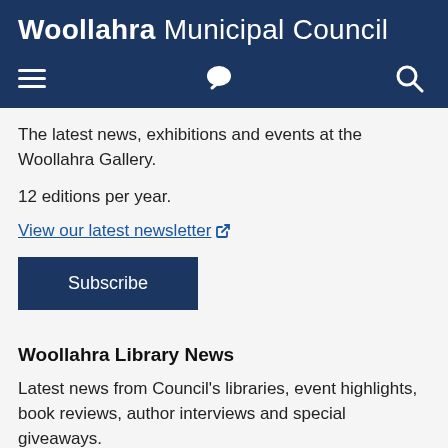Woollahra Municipal Council
The latest news, exhibitions and events at the Woollahra Gallery.
12 editions per year.
View our latest newsletter ↗
Subscribe
Woollahra Library News
Latest news from Council's libraries, event highlights, book reviews, author interviews and special giveaways.
2 editions per month.